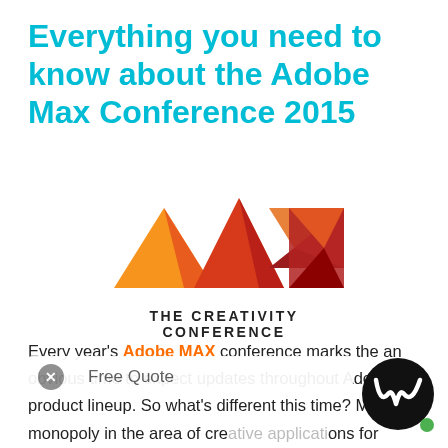Everything you need to know about the Adobe Max Conference 2015
[Figure (logo): Adobe MAX 2015 logo — geometric triangle shapes in orange, red, and dark red forming letters M-A-X, with text 'THE CREATIVITY CONFERENCE' below]
Every year's Adobe MAX conference marks the an obvious time to expect updates throughout Adobe's product lineup. So what's different this time? Mobile. monopoly in the area of creative applications for media editing, but for the first time in a